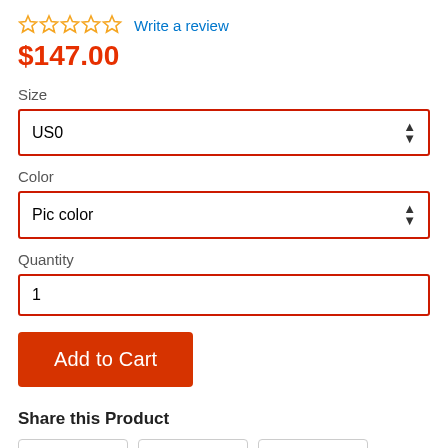☆ ☆ ☆ ☆ ☆ Write a review
$147.00
Size
US0
Color
Pic color
Quantity
1
Add to Cart
Share this Product
Share  Tweet  Pin it